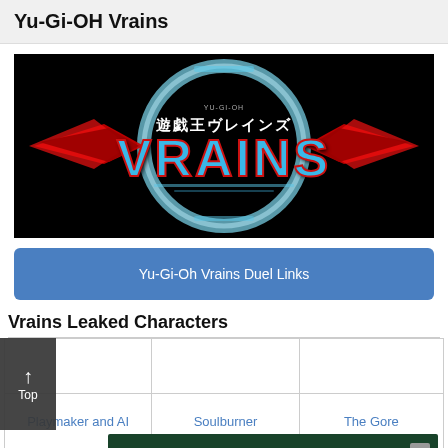Yu-Gi-OH Vrains
[Figure (logo): Yu-Gi-Oh VRAINS anime logo on black background with Japanese text 遊戯王ヴレインズ and stylized VRAINS lettering in blue and red with wing designs]
Yu-Gi-Oh Vrains Duel Links
Vrains Leaked Characters
|  |  |  |
| --- | --- | --- |
| Playmaker and AI | Soulburner | The Gore |
|  |  |  |